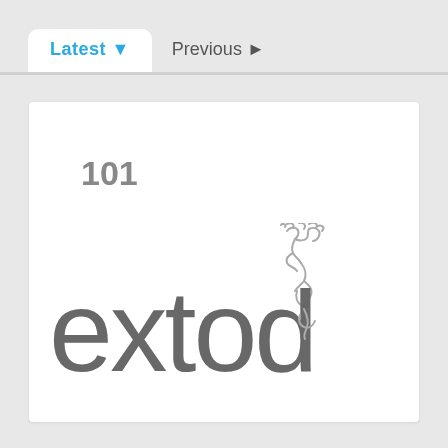Latest ▼   Previous ►
[Figure (logo): extod logo with number 101 and a dancing figure illustration integrated into the text]